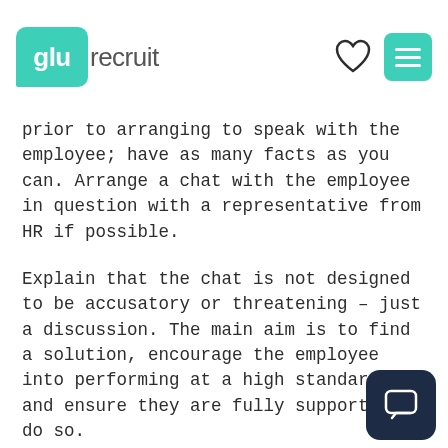glurecruit
prior to arranging to speak with the employee; have as many facts as you can. Arrange a chat with the employee in question with a representative from HR if possible.
Explain that the chat is not designed to be accusatory or threatening – just a discussion. The main aim is to find a solution, encourage the employee into performing at a high standard, and ensure they are fully supported to do so.
Discuss specific cases with the member of staff and don't be vague. Your employee needs to know examples of where they have underperformed and what you expect from